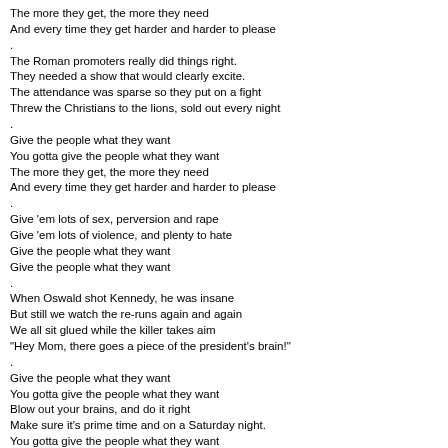The more they get, the more they need
And every time they get harder and harder to please
.
The Roman promoters really did things right.
They needed a show that would clearly excite.
The attendance was sparse so they put on a fight
Threw the Christians to the lions, sold out every night
.
Give the people what they want
You gotta give the people what they want
The more they get, the more they need
And every time they get harder and harder to please
.
Give 'em lots of sex, perversion and rape
Give 'em lots of violence, and plenty to hate
Give the people what they want
Give the people what they want
.
When Oswald shot Kennedy, he was insane
But still we watch the re-runs again and again
We all sit glued while the killer takes aim
"Hey Mom, there goes a piece of the president's brain!"
.
Give the people what they want
You gotta give the people what they want
Blow out your brains, and do it right
Make sure it's prime time and on a Saturday night.
You gotta give the people what they want